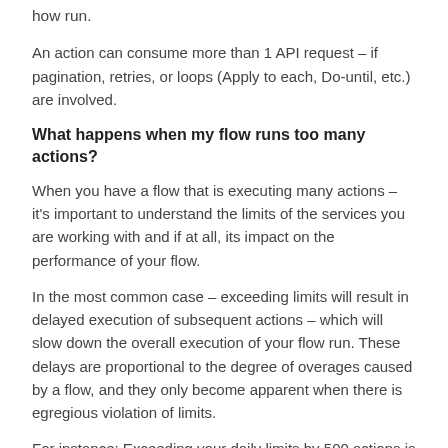how run.
An action can consume more than 1 API request – if pagination, retries, or loops (Apply to each, Do-until, etc.) are involved.
What happens when my flow runs too many actions?
When you have a flow that is executing many actions – it's important to understand the limits of the services you are working with and if at all, its impact on the performance of your flow.
In the most common case – exceeding limits will result in delayed execution of subsequent actions – which will slow down the overall execution of your flow run. These delays are proportional to the degree of overages caused by a flow, and they only become apparent when there is egregious violation of limits.
For instance: Exceeding your daily limits by 500 actions is going to have zero impact on the performance of your flow, however exceeding your limit by 50,000 actions will have a